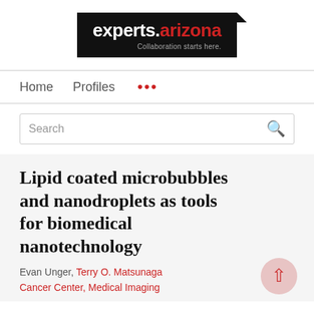[Figure (logo): experts.arizona logo — black rectangle with white bold text 'experts.' and red bold text 'arizona', tagline 'Collaboration starts here.' in gray, with a black notched corner tab at top right]
Home   Profiles   ...
Search
Lipid coated microbubbles and nanodroplets as tools for biomedical nanotechnology
Evan Unger, Terry O. Matsunaga
Cancer Center, Medical Imaging